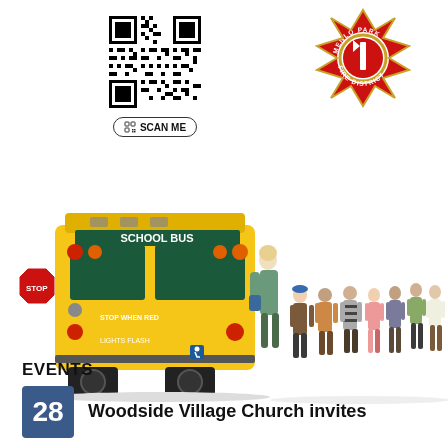[Figure (other): QR code with SCAN ME button below]
[Figure (logo): Menlo Park Fire District badge/logo in red and gold]
[Figure (photo): Yellow school bus from the rear with a line of children and a teacher walking toward it, a red STOP sign visible on the left]
EVENTS
28  Woodside Village Church invites